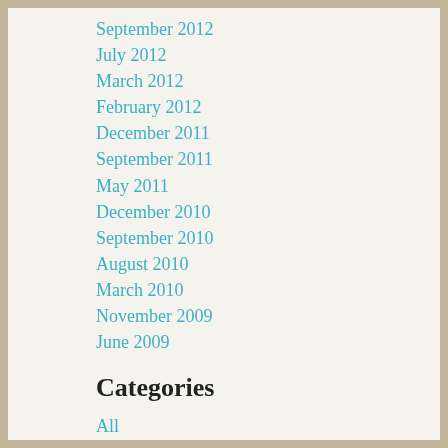September 2012
July 2012
March 2012
February 2012
December 2011
September 2011
May 2011
December 2010
September 2010
August 2010
March 2010
November 2009
June 2009
Categories
All
Abolition
Activities
Articles
Audio